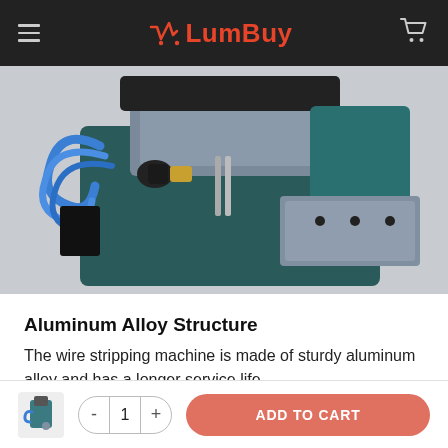LumBuy
[Figure (photo): Close-up of a wire stripping machine made of aluminum alloy with blue pneumatic tubes, dark teal metal body, and silver metal components on a light gray background.]
Aluminum Alloy Structure
The wire stripping machine is made of sturdy aluminum alloy and has a longer service life.
Aluminum Alloy Structure